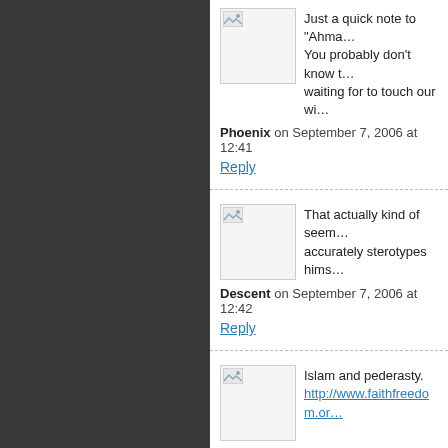[Figure (illustration): Avatar placeholder image with small broken image icon, for comment by Phoenix]
Just a quick note to “Ahma… You probably don't know t… waiting for to touch our wi…
Phoenix on September 7, 2006 at 12:41
Reply
[Figure (illustration): Avatar placeholder image with small broken image icon, for comment by Descent]
That actually kind of seem… accurately sterotypes hims…
Descent on September 7, 2006 at 12:42
Reply
[Figure (illustration): Avatar placeholder image with small broken image icon, for comment by Thee_Bruno]
Islam and pederasty.
http://www.faithfreedom.or…
Thee_Bruno on September 7, 2006 at 1…
Reply